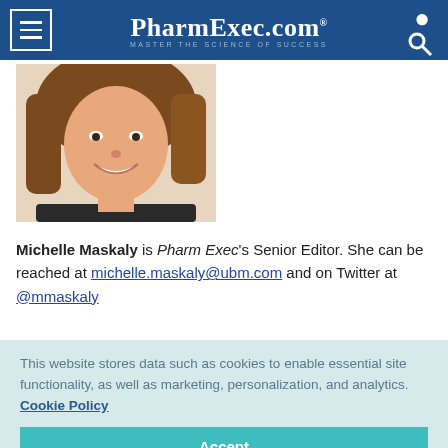PharmExec.com — MASTER THE SCIENCE OF SUCCESS
[Figure (photo): Headshot photo of Michelle Maskaly, a woman with brown hair smiling, wearing a dark top, cropped to show her face and shoulders.]
Michelle Maskaly is Pharm Exec's Senior Editor. She can be reached at michelle.maskaly@ubm.com and on Twitter at @mmaskaly
This website stores data such as cookies to enable essential site functionality, as well as marketing, personalization, and analytics. Cookie Policy
Accept
Deny